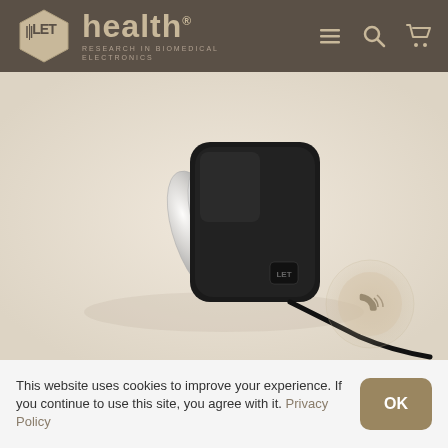[Figure (logo): LET health logo with hexagonal badge and 'LET health – Research in Biomedical Electronics' branding on dark brown header, with menu, search, and cart icons]
[Figure (photo): Product photo of a medical biomedical electronic device – a small black and chrome clip/sensor with a cable on a beige/cream background, with a circular phone call icon overlay]
This website uses cookies to improve your experience. If you continue to use this site, you agree with it. Privacy Policy